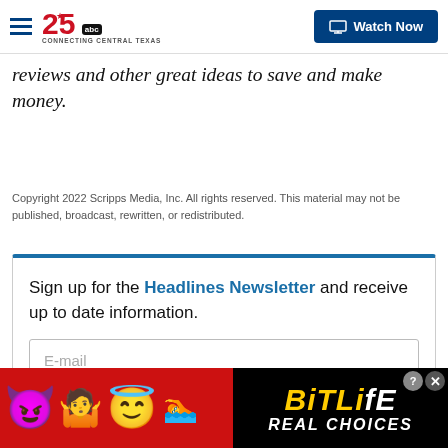25 ABC - Connecting Central Texas | Watch Now
reviews and other great ideas to save and make money.
Copyright 2022 Scripps Media, Inc. All rights reserved. This material may not be published, broadcast, rewritten, or redistributed.
Sign up for the Headlines Newsletter and receive up to date information.
[Figure (screenshot): Newsletter signup form with E-mail input and Submit button]
[Figure (infographic): BitLife Real Choices advertisement banner with emoji characters on red background]